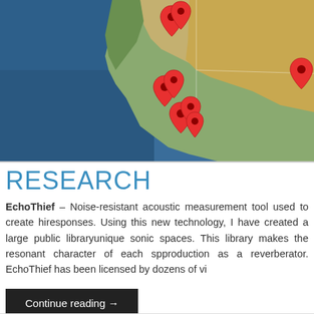[Figure (map): Satellite/terrain map of the western United States (California coast visible) with multiple red map pin markers clustered along the California coast and one marker in the upper right area. Ocean is dark blue, land shows terrain detail.]
RESEARCH
EchoThief – Noise-resistant acoustic measurement tool used to create hi... responses. Using this new technology, I have created a large public library... unique sonic spaces. This library makes the resonant character of each sp... production as a reverberator. EchoThief has been licensed by dozens of vi...
Continue reading →